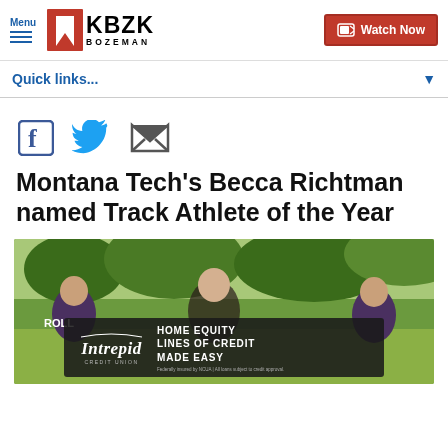Menu | 7KBZK BOZEMAN | Watch Now
Quick links...
[Figure (other): Social media share icons: Facebook, Twitter, Email]
Montana Tech's Becca Richtman named Track Athlete of the Year
[Figure (photo): Female runners competing in a cross country race, with a home equity credit advertisement overlay at the bottom reading: Intrepid Credit Union - HOME EQUITY LINES OF CREDIT MADE EASY]